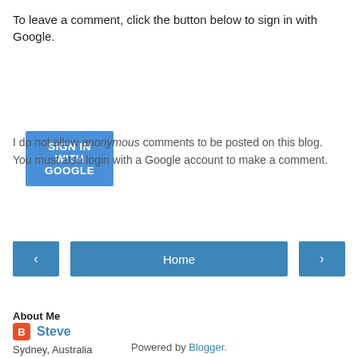To leave a comment, click the button below to sign in with Google.
[Figure (other): SIGN IN WITH GOOGLE blue button]
I do not allow anonymous comments to be posted on this blog. You must also login with a Google account to make a comment.
[Figure (other): Navigation buttons: left arrow, Home, right arrow]
View web version
About Me
Steve
Sydney, Australia
View my complete profile
Powered by Blogger.